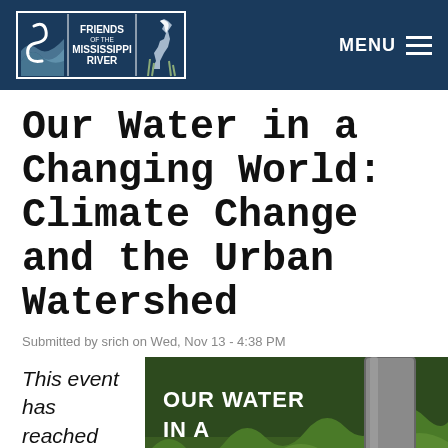Friends of the Mississippi River | MENU
Our Water in a Changing World: Climate Change and the Urban Watershed
Submitted by srich on Wed, Nov 13 - 4:38 PM
This event has reached capacity, however a waitlist is being taken via the
[Figure (photo): Event poster showing a pipe discharging water into green grass with bold white text reading OUR WATER IN A CHANGING WORLD overlaid on the image]